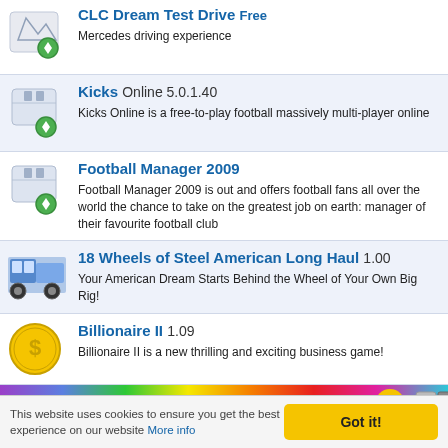CLC Dream Test Drive Free — Mercedes driving experience
Kicks Online 5.0.1.40 — Kicks Online is a free-to-play football massively multi-player online
Football Manager 2009 — Football Manager 2009 is out and offers football fans all over the world the chance to take on the greatest job on earth: manager of their favourite football club
18 Wheels of Steel American Long Haul 1.00 — Your American Dream Starts Behind the Wheel of Your Own Big Rig!
Billionaire II 1.09 — Billionaire II is a new thrilling and exciting business game!
[Figure (screenshot): Colorful advertisement banner at bottom of app listing page]
This website uses cookies to ensure you get the best experience on our website More info